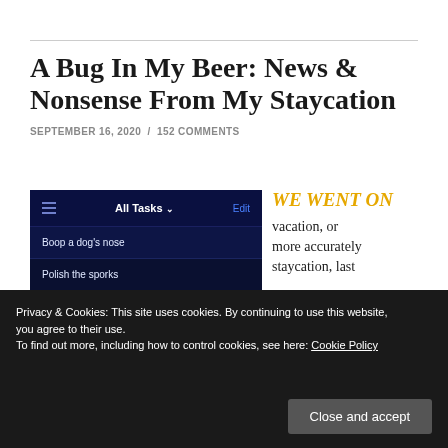A Bug In My Beer: News & Nonsense From My Staycation
SEPTEMBER 16, 2020 / 152 COMMENTS
[Figure (screenshot): Mobile app screenshot showing a task list UI with dark blue background. Items include 'All Tasks', 'Boop a dog's nose', 'Polish the sporks', 'Watch beige paint dry'.]
WE WENT ON vacation, or more accurately staycation, last
Privacy & Cookies: This site uses cookies. By continuing to use this website, you agree to their use.
To find out more, including how to control cookies, see here: Cookie Policy
Close and accept